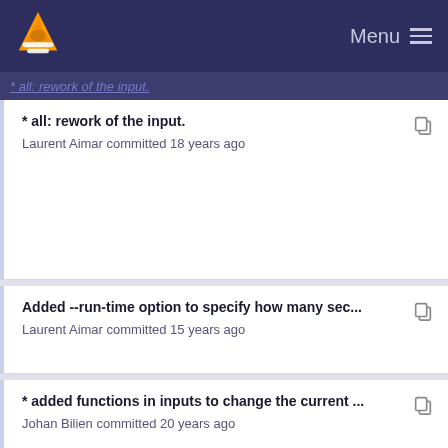VLC Menu
* all: rework of the input. Laurent Aimar committed 18 years ago (partial, cut off at top)
* all: rework of the input.
Laurent Aimar committed 18 years ago
Added --run-time option to specify how many sec...
Laurent Aimar committed 15 years ago
* added functions in inputs to change the current ...
Johan Bilien committed 20 years ago
* all: rework of the input.
Laurent Aimar committed 18 years ago